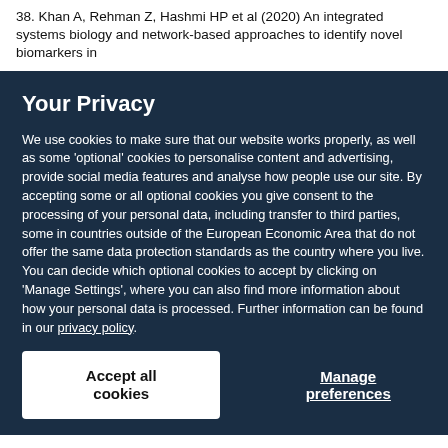38. Khan A, Rehman Z, Hashmi HP et al (2020) An integrated systems biology and network-based approaches to identify novel biomarkers in
Your Privacy
We use cookies to make sure that our website works properly, as well as some 'optional' cookies to personalise content and advertising, provide social media features and analyse how people use our site. By accepting some or all optional cookies you give consent to the processing of your personal data, including transfer to third parties, some in countries outside of the European Economic Area that do not offer the same data protection standards as the country where you live. You can decide which optional cookies to accept by clicking on 'Manage Settings', where you can also find more information about how your personal data is processed. Further information can be found in our privacy policy.